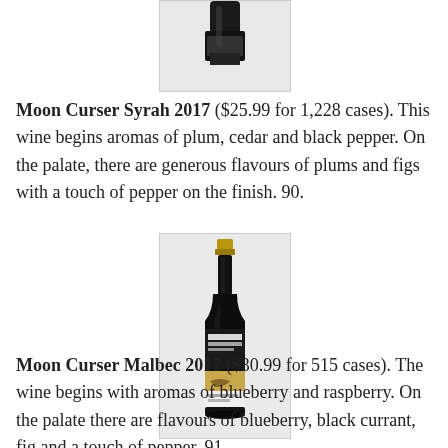[Figure (photo): Partial view of a wine bottle from above, showing dark bottle top with label, cut off at top of page]
Moon Curser Syrah 2017 ($25.99 for 1,228 cases). This wine begins aromas of plum, cedar and black pepper. On the palate, there are generous flavours of plums and figs with a touch of pepper on the finish. 90.
[Figure (photo): Full wine bottle of Moon Curser Malbec 2017 with gold cap and black label featuring animal artwork on white and golden label sections]
Moon Curser Malbec 2017 ($30.99 for 515 cases). The wine begins with aromas of blueberry and raspberry. On the palate there are flavours of blueberry, black currant, fig and a touch of pepper. 91.